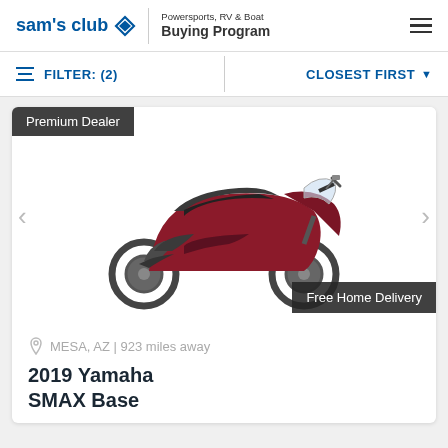[Figure (logo): Sam's Club logo with diamond icon and Powersports, RV & Boat Buying Program header]
FILTER: (2)
CLOSEST FIRST
[Figure (photo): 2019 Yamaha SMAX Base scooter in dark red/maroon color, side profile view on white background. Premium Dealer badge top left, Free Home Delivery badge bottom right, navigation arrows on sides.]
MESA, AZ | 923 miles away
2019 Yamaha
SMAX Base